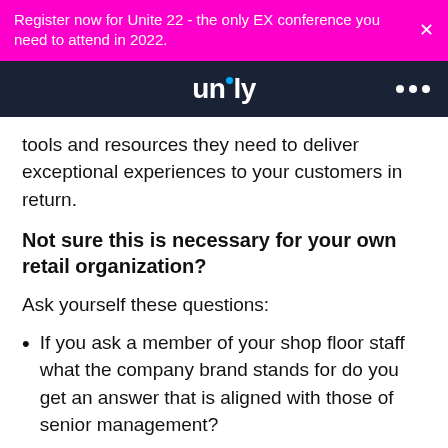Register now for Unite 22 - the only EX conference you need to attend in 2022.
[Figure (logo): Unily logo on dark navy background with three dot menu]
tools and resources they need to deliver exceptional experiences to your customers in return.
Not sure this is necessary for your own retail organization?
Ask yourself these questions:
If you ask a member of your shop floor staff what the company brand stands for do you get an answer that is aligned with those of senior management?
What would the bottom line look like if we halved